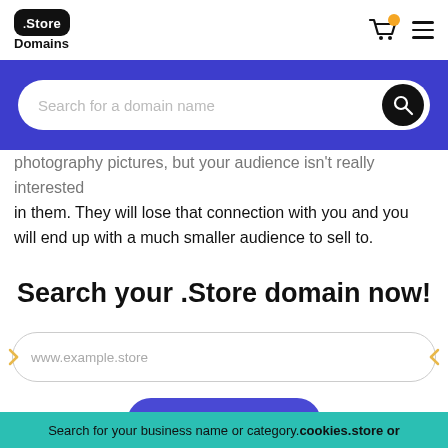.Store Domains
[Figure (screenshot): Search bar with placeholder 'Search for a domain name' on blue background]
photography pictures, but your audience isn't really interested in them. They will lose that connection with you and you will end up with a much smaller audience to sell to.
Search your .Store domain now!
www.example.store
Buy Now →
Search for your business name or category. cookies.store or